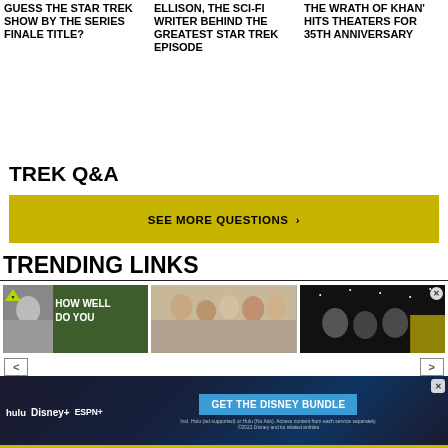GUESS THE STAR TREK SHOW BY THE SERIES FINALE TITLE?
ELLISON, THE SCI-FI WRITER BEHIND THE GREATEST STAR TREK EPISODE
THE WRATH OF KHAN' HITS THEATERS FOR 35TH ANNIVERSARY
TREK Q&A
SEE MORE QUESTIONS >
TRENDING LINKS
[Figure (screenshot): Three trending link image thumbnails showing: 1) A quiz image with text HOW WELL DO YOU, 2) Group of people/cast, 3) Dark space scene with characters]
[Figure (screenshot): Disney Bundle advertisement banner with Hulu, Disney+, ESPN+ logos and GET THE DISNEY BUNDLE CTA]